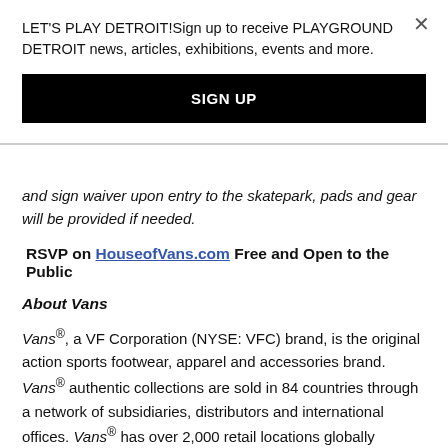LET'S PLAY DETROIT!Sign up to receive PLAYGROUND DETROIT news, articles, exhibitions, events and more.
SIGN UP
and sign waiver upon entry to the skatepark, pads and gear will be provided if needed.
RSVP on HouseofVans.com Free and Open to the Public
About Vans
Vans®, a VF Corporation (NYSE: VFC) brand, is the original action sports footwear, apparel and accessories brand. Vans® authentic collections are sold in 84 countries through a network of subsidiaries, distributors and international offices. Vans® has over 2,000 retail locations globally including owned, concession and partnership doors. The